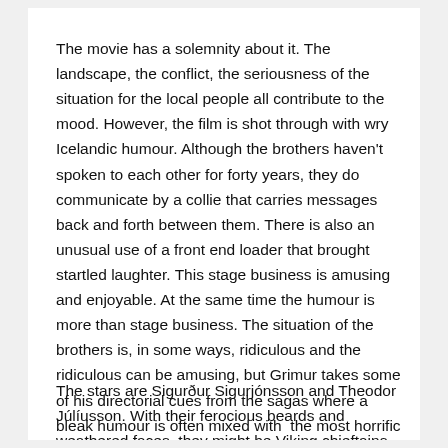The movie has a solemnity about it. The landscape, the conflict, the seriousness of the situation for the local people all contribute to the mood. However, the film is shot through with wry Icelandic humour. Although the brothers haven't spoken to each other for forty years, they do communicate by a collie that carries messages back and forth between them. There is also an unusual use of a front end loader that brought startled laughter. This stage business is amusing and enjoyable. At the same time the humour is more than stage business. The situation of the brothers is, in some ways, ridiculous and the ridiculous can be amusing, but Grimur takes some of his directorial cues from the sagas where a bleak humour is often mixed with  the most horrific events.
The stars are Sigurður Sigurjónsson and Theodor Júlíusson. With their ferocious beards and weathered faces, they might be Viking chieftains during the time of the great conflict of the Sturlungs. Much is demanded of them as actors because so much focus is on their physical expression rather than their dialogue. They